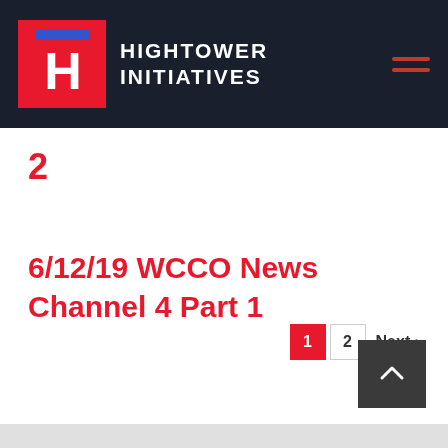HIGHTOWER INITIATIVES
2
6/12/19 WCCO News Channel 4 Part 1
1  2  Next >